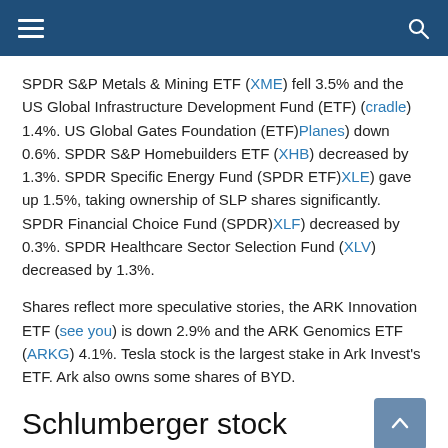Navigation bar with hamburger menu and search icon
SPDR S&P Metals & Mining ETF (XME) fell 3.5% and the US Global Infrastructure Development Fund (ETF) (cradle) 1.4%. US Global Gates Foundation (ETF)Planes) down 0.6%. SPDR S&P Homebuilders ETF (XHB) decreased by 1.3%. SPDR Specific Energy Fund (SPDR ETF)XLE) gave up 1.5%, taking ownership of SLP shares significantly. SPDR Financial Choice Fund (SPDR)XLF) decreased by 0.3%. SPDR Healthcare Sector Selection Fund (XLV) decreased by 1.3%.
Shares reflect more speculative stories, the ARK Innovation ETF (see you) is down 2.9% and the ARK Genomics ETF (ARKG) 4.1%. Tesla stock is the largest stake in Ark Invest's ETF. Ark also owns some shares of BYD.
Schlumberger stock
Schlumberger stock on Tuesday briefly rose to 48.67, a three-year high and just extended from the official consolidation buying point of 46.37 cleared last Thursday. At that point,